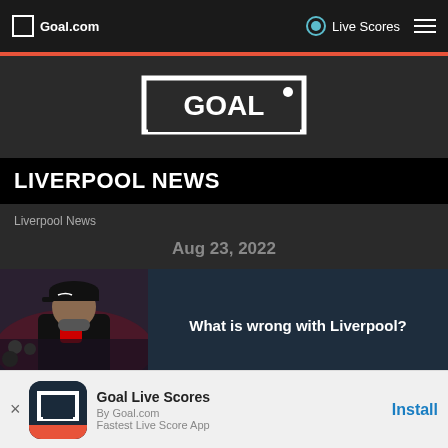Goal.com
[Figure (logo): GOAL logo - white text on dark background with goal post frame]
LIVERPOOL NEWS
Liverpool News
Aug 23, 2022
[Figure (photo): Photo of Liverpool manager Jurgen Klopp in black jacket at stadium]
What is wrong with Liverpool?
Goal Live Scores
By Goal.com
Fastest Live Score App